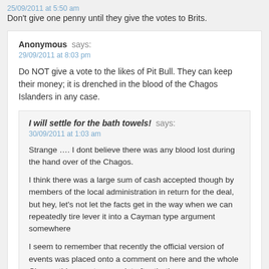25/09/2011 at 5:50 am
Don't give one penny until they give the votes to Brits.
Anonymous says:
29/09/2011 at 8:03 pm
Do NOT give a vote to the likes of Pit Bull. They can keep their money; it is drenched in the blood of the Chagos Islanders in any case.
I will settle for the bath towels! says:
30/09/2011 at 1:03 am
Strange …. I dont believe there was any blood lost during the hand over of the Chagos.
I think there was a large sum of cash accepted though by members of the local administration in return for the deal, but hey, let's not let the facts get in the way when we can repeatedly tire lever it into a Cayman type argument somewhere
I seem to remember that recently the official version of events was placed onto a comment on here and the whole Chagos thing went very quiet after that!